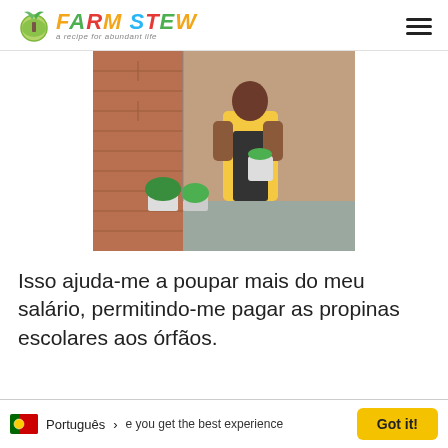FARM STEW a recipe for abundant life
[Figure (photo): A person wearing a yellow vest and black skirt standing next to potted plants along a brick wall, holding a plant in a bucket.]
Isso ajuda-me a poupar mais do meu salário, permitindo-me pagar as propinas escolares aos órfãos.
Th... e you get the best experience on... | Português > | Got it!